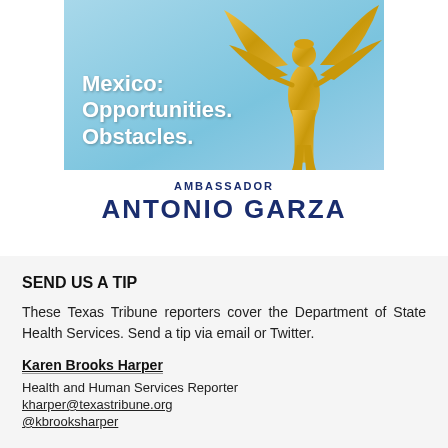[Figure (illustration): Advertisement image showing a golden winged statue (Angel of Independence) against a blue sky background with text 'Mexico: Opportunities. Obstacles.' in white, followed by 'AMBASSADOR ANTONIO GARZA' in dark blue below the image.]
SEND US A TIP
These Texas Tribune reporters cover the Department of State Health Services. Send a tip via email or Twitter.
Karen Brooks Harper
Health and Human Services Reporter
kharper@texastribune.org
@kbrooksharper